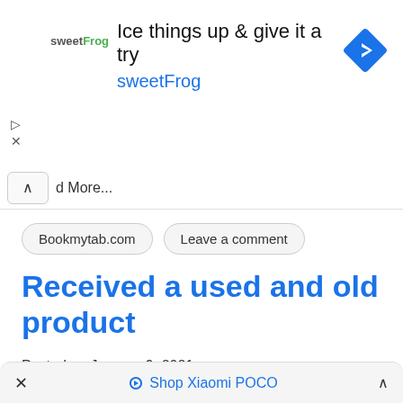[Figure (screenshot): sweetFrog advertisement banner with logo, headline 'Ice things up & give it a try', brand name 'sweetFrog', and a blue navigation arrow icon]
d More...
Bookmytab.com
Leave a comment
Received a used and old product
Posted on January 9, 2021
× Shop Xiaomi POCO ^